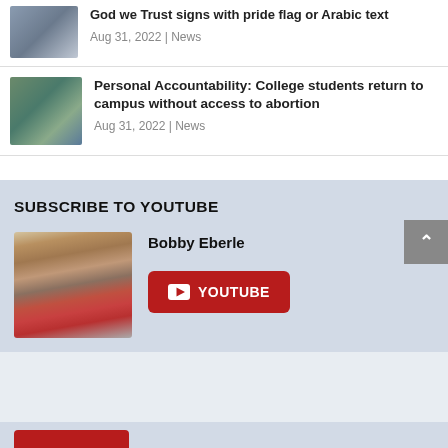God we Trust signs with pride flag or Arabic text
Aug 31, 2022 | News
Personal Accountability: College students return to campus without access to abortion
Aug 31, 2022 | News
SUBSCRIBE TO YOUTUBE
Bobby Eberle
[Figure (photo): Photo of Bobby Eberle in front of American flag]
YOUTUBE